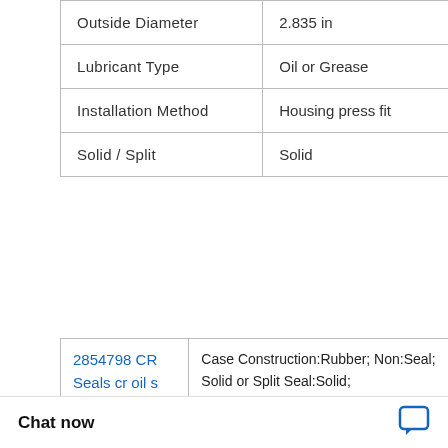| Property | Value |
| --- | --- |
| Outside Diameter | 2.835 in |
| Lubricant Type | Oil or Grease |
| Installation Method | Housing press fit |
| Solid / Split | Solid |
[Figure (other): WhatsApp Online chat widget — green circle with phone icon, text 'WhatsApp Online' overlaid]
| Product | Description |
| --- | --- |
| 2854798 CR Seals cr oil seals | Case Construction:Rubber; Non:Seal; Solid or Split Seal:Solid; Manufacturer Item Number:4800518; Type of Seal:Oil Seal; Category:Oil Seals; Long Description:48 Shaft Dia; Lip Retainer:Stainless Steel Gart; Keyword String:Lip; Other Features:Large / 1 Butt Joint; Weight / LBS:10.801; Hous |
Chat now